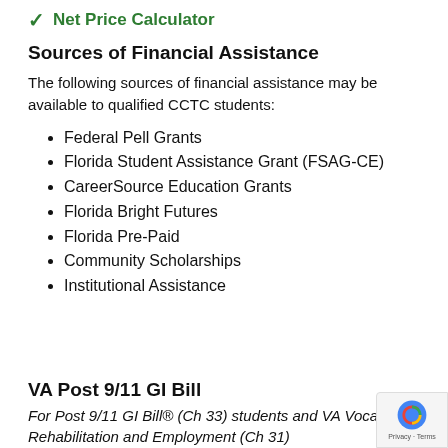Net Price Calculator
Sources of Financial Assistance
The following sources of financial assistance may be available to qualified CCTC students:
Federal Pell Grants
Florida Student Assistance Grant (FSAG-CE)
CareerSource Education Grants
Florida Bright Futures
Florida Pre-Paid
Community Scholarships
Institutional Assistance
VA Post 9/11 GI Bill
For Post 9/11 GI Bill® (Ch 33) students and VA Vocational Rehabilitation and Employment (Ch 31)